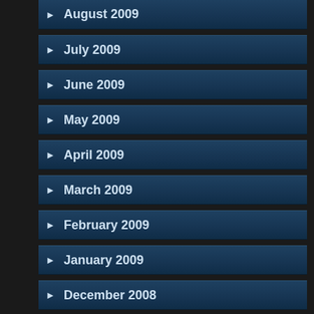August 2009
July 2009
June 2009
May 2009
April 2009
March 2009
February 2009
January 2009
December 2008
November 2008
October 2008
September 2008